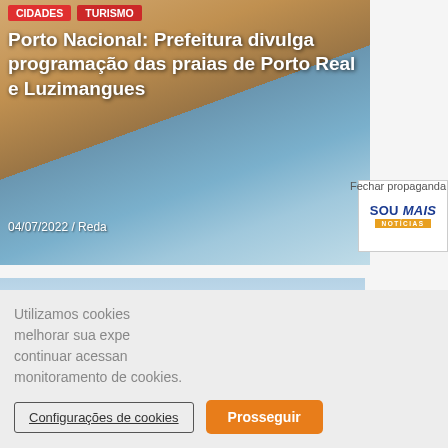[Figure (photo): Beach scene with people on sandy shore and blue water, shown as hero image behind headline]
CIDADES  TURISMO
Porto Nacional: Prefeitura divulga programação das praias de Porto Real e Luzimangues
04/07/2022 / Reda...
[Figure (logo): SOU MAIS NOTICIAS logo with orange badge]
Fechar propaganda
[Figure (photo): Landscape photo showing sky with clouds, green hillside and dark treeline at bottom]
Utilizamos cookies melhorar sua expe... continuar acessan... monitoramento de cookies.
Configurações de cookies
Prosseguir